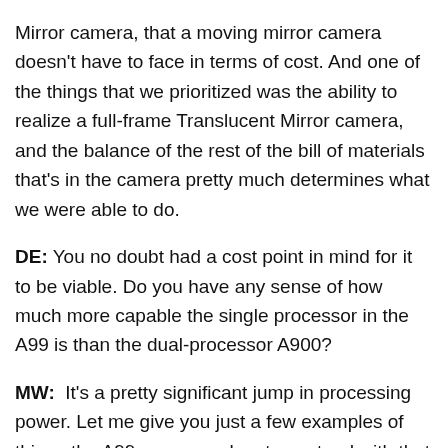Mirror camera, that a moving mirror camera doesn't have to face in terms of cost. And one of the things that we prioritized was the ability to realize a full-frame Translucent Mirror camera, and the balance of the rest of the bill of materials that's in the camera pretty much determines what we were able to do.
DE: You no doubt had a cost point in mind for it to be viable. Do you have any sense of how much more capable the single processor in the A99 is than the dual-processor A900?
MW: It's a pretty significant jump in processing power. Let me give you just a few examples of things the A99 processor has to contend with that the A900 dual processor didn't. The A99 gathers information from the on-sensor phase-detect AF points, which requires a considerable amount of processing power to handle that data. The 14-bit data in the RAW format